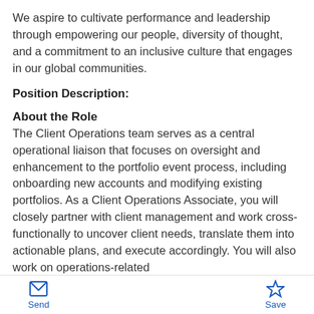We aspire to cultivate performance and leadership through empowering our people, diversity of thought, and a commitment to an inclusive culture that engages in our global communities.
Position Description:
About the Role
The Client Operations team serves as a central operational liaison that focuses on oversight and enhancement to the portfolio event process, including onboarding new accounts and modifying existing portfolios. As a Client Operations Associate, you will closely partner with client management and work cross-functionally to uncover client needs, translate them into actionable plans, and execute accordingly. You will also work on operations-related
Send  Save